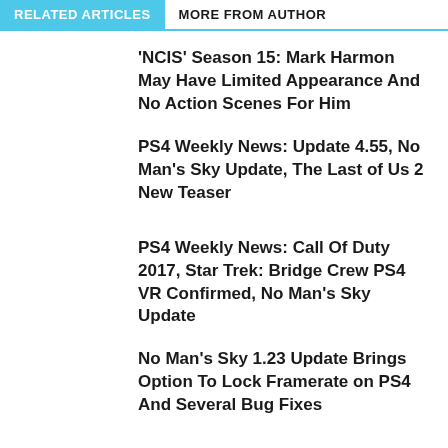RELATED ARTICLES   MORE FROM AUTHOR
'NCIS' Season 15: Mark Harmon May Have Limited Appearance And No Action Scenes For Him
PS4 Weekly News: Update 4.55, No Man's Sky Update, The Last of Us 2 New Teaser
PS4 Weekly News: Call Of Duty 2017, Star Trek: Bridge Crew PS4 VR Confirmed, No Man's Sky Update
No Man's Sky 1.23 Update Brings Option To Lock Framerate on PS4 And Several Bug Fixes